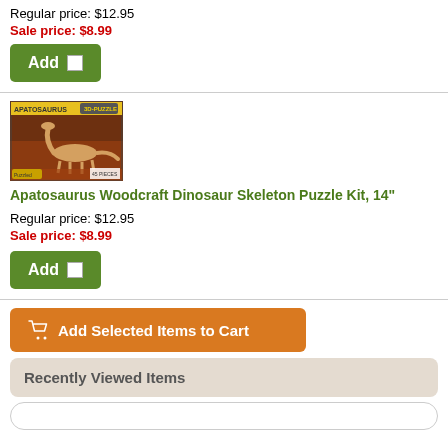Regular price: $12.95
Sale price: $8.99
[Figure (other): Green Add button with checkbox]
[Figure (photo): Apatosaurus 3D Puzzle box with dinosaur skeleton image]
Apatosaurus Woodcraft Dinosaur Skeleton Puzzle Kit, 14"
Regular price: $12.95
Sale price: $8.99
[Figure (other): Green Add button with checkbox]
[Figure (other): Orange Add Selected Items to Cart button with cart icon]
Recently Viewed Items
[Figure (other): Empty search/input bar]